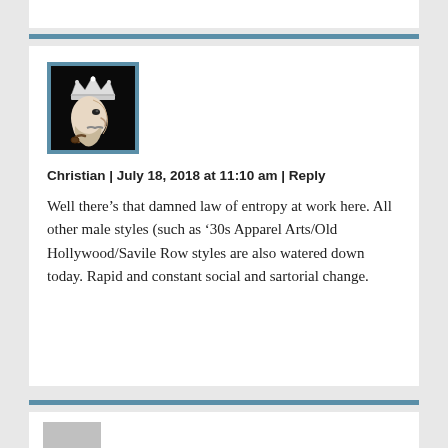[Figure (other): Partial white comment block visible at top of page]
Christian | July 18, 2018 at 11:10 am | Reply
[Figure (illustration): Avatar image of a stylized king profile (black and white illustration with crown) on dark background, with blue border]
Well there’s that damned law of entropy at work here. All other male styles (such as ’30s Apparel Arts/Old Hollywood/Savile Row styles are also watered down today. Rapid and constant social and sartorial change.
[Figure (other): Partial white comment block visible at bottom of page with grey avatar placeholder]